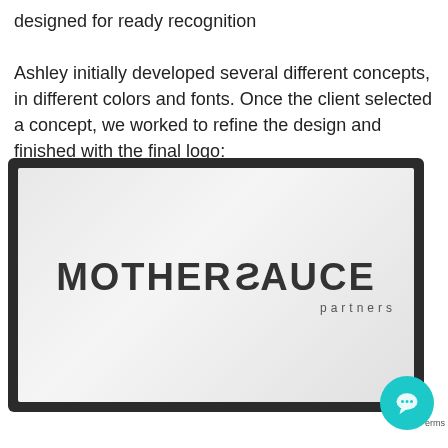designed for ready recognition

Ashley initially developed several different concepts, in different colors and fonts. Once the client selected a concept, we worked to refine the design and finished with the final logo:
[Figure (logo): Mothersauce Partners logo displayed on a dark-framed screen/monitor mockup. The logo shows 'MOTHERSAUCE' in large bold dark letters with a reversed/mirrored S, and 'partners' in small spaced letters below, on a light gray gradient background.]